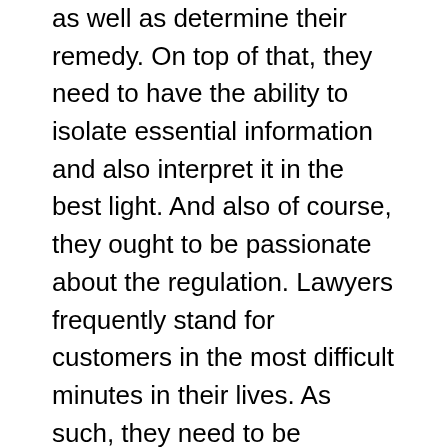as well as determine their remedy. On top of that, they need to have the ability to isolate essential information and also interpret it in the best light. And also of course, they ought to be passionate about the regulation. Lawyers frequently stand for customers in the most difficult minutes in their lives. As such, they need to be understanding and also caring. Despite this, lawyers should follow strict principles and also privacy rules to ensure their clients' welfare. immigration lawyer service
An attorney is an attorney who has graduated from law school and passed the state bar examination in their state. The law gives attorneys the authority to represent their clients in court, provide legal advice, and also existing proof in